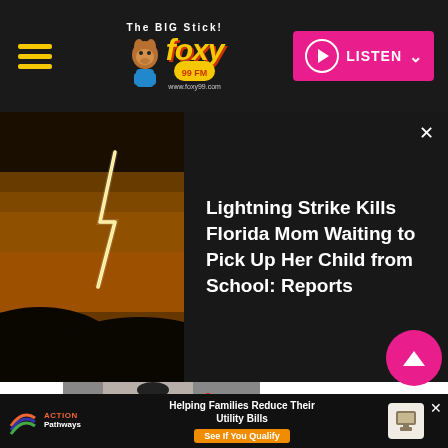The BIG Stick! Foxy 99 FM www.foxy99.com — LISTEN
[Figure (photo): Lightning strike over dark hilly landscape at dusk with orange sky — news article thumbnail]
Lightning Strike Kills Florida Mom Waiting to Pick Up Her Child from School: Reports
[Figure (photo): Woman in black and white gown at what appears to be Met Gala red carpet event, photographers in background]
Helping Families Reduce Their Utility Bills — See If You Qualify — Action Pathways